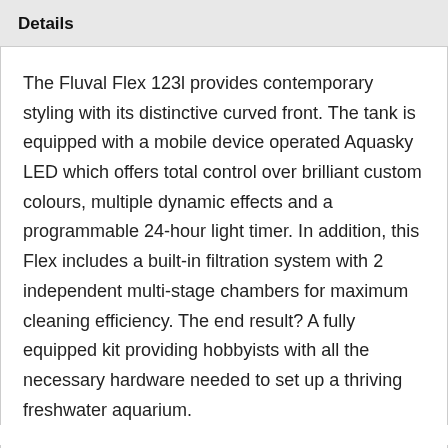Details
The Fluval Flex 123l provides contemporary styling with its distinctive curved front. The tank is equipped with a mobile device operated Aquasky LED which offers total control over brilliant custom colours, multiple dynamic effects and a programmable 24-hour light timer. In addition, this Flex includes a built-in filtration system with 2 independent multi-stage chambers for maximum cleaning efficiency. The end result? A fully equipped kit providing hobbyists with all the necessary hardware needed to set up a thriving freshwater aquarium.
Features Fluval Flex 123L Include: